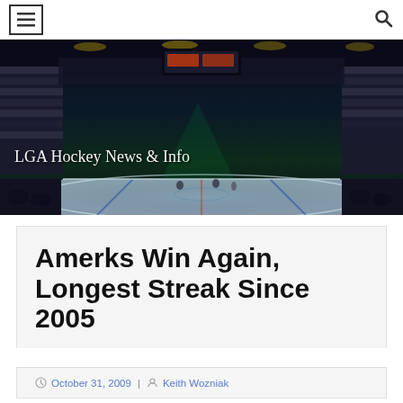≡  🔍
[Figure (photo): Hockey arena interior at night with ice rink visible, crowd in stands, dramatic lighting. Text overlay: LGA Hockey News & Info]
Amerks Win Again, Longest Streak Since 2005
October 31, 2009 | Keith Wozniak